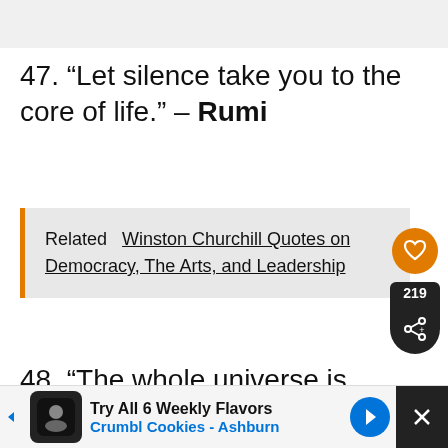47. “Let silence take you to the core of life.” – Rumi
Related   Winston Churchill Quotes on Democracy, The Arts, and Leadership
48. “The whole universe is contained within a single being – you.” – Rumi
[Figure (screenshot): Advertisement bar at the bottom: Try All 6 Weekly Flavors Crumbl Cookies - Ashburn]
[Figure (infographic): What's Next panel showing Pablo Neruda Quotes Sure... with circular portrait photo]